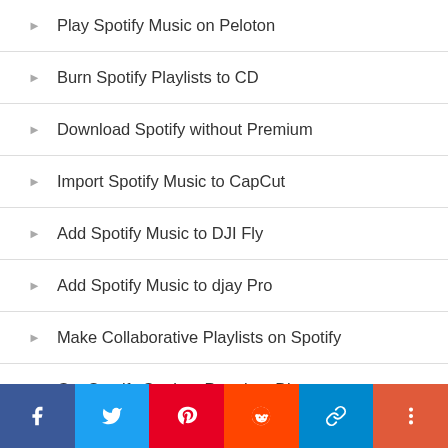Play Spotify Music on Peloton
Burn Spotify Playlists to CD
Download Spotify without Premium
Import Spotify Music to CapCut
Add Spotify Music to DJI Fly
Add Spotify Music to djay Pro
Make Collaborative Playlists on Spotify
Get Spotify Student Premium Discount
Add Spotify Music to TikTok